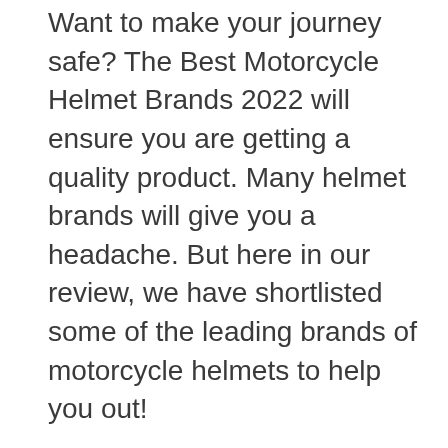Want to make your journey safe? The Best Motorcycle Helmet Brands 2022 will ensure you are getting a quality product. Many helmet brands will give you a headache. But here in our review, we have shortlisted some of the leading brands of motorcycle helmets to help you out!